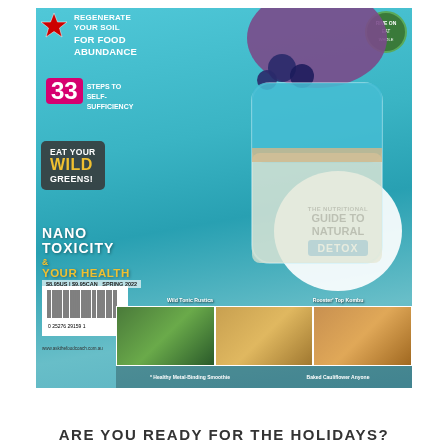[Figure (photo): Magazine cover for a natural health/food magazine. Features a blue chia seed pudding parfait topped with blueberries and purple cauliflower in a glass jar on a decorative tray. Text overlays include: 'REGENERATE YOUR SOIL FOR FOOD ABUNDANCE', '33 STEPS TO SELF-SUFFICIENCY', 'EAT YOUR WILD GREENS!', 'NANO TOXICITY & YOUR HEALTH', 'THE NUTRITIONAL GUIDE TO NATURAL DETOX'. Bottom shows barcode, price ($8.95US | $9.95CAN SPRING 2022), and four small food photos: Wild Tonic Rustica, Rooster' Top Kombu, Healthy Metal-Binding Smoothie, Baked Cauliflower Anyone.]
ARE YOU READY FOR THE HOLIDAYS?